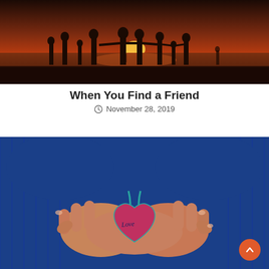[Figure (photo): Silhouettes of a group of people including children holding hands on a beach at sunset, with a dramatic orange and red sky in the background]
When You Find a Friend
November 28, 2019
[Figure (photo): Close-up of hands cupped together holding a pink fabric heart ornament with the word 'Love' stitched on it, against a blue knitted sweater background]